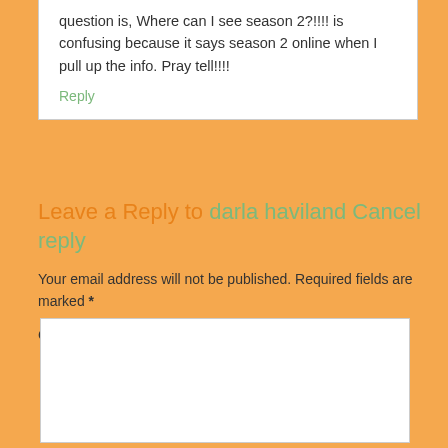question is, Where can I see season 2?!!!! is confusing because it says season 2 online when I pull up the info. Pray tell!!!!
Reply
Leave a Reply to darla haviland Cancel reply
Your email address will not be published. Required fields are marked *
Comment *